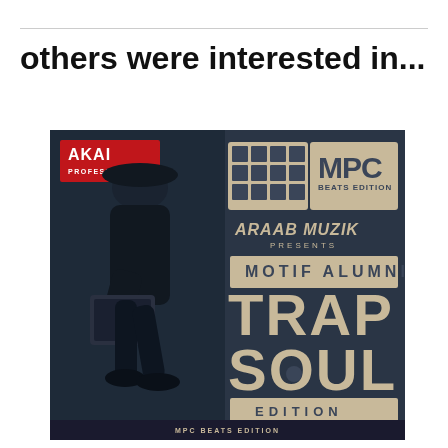others were interested in...
[Figure (photo): Akai Professional MPC Beats Edition product advertisement featuring AraabMuzik presenting Motif Alumni Trap Soul Edition. A person in dark clothing holding an MPC device walks against a dark blue background. Logo elements and text overlay on the right side.]